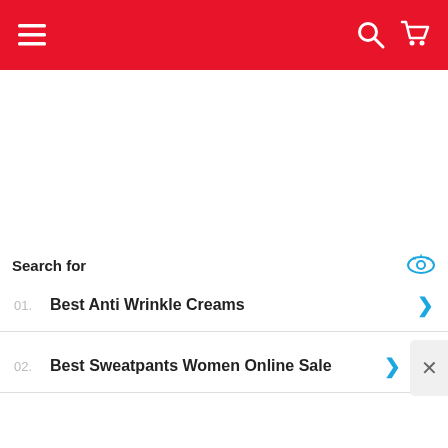Navigation bar with hamburger menu, search icon, and cart icon
Search for
01.  Best Anti Wrinkle Creams
02.  Best Sweatpants Women Online Sale